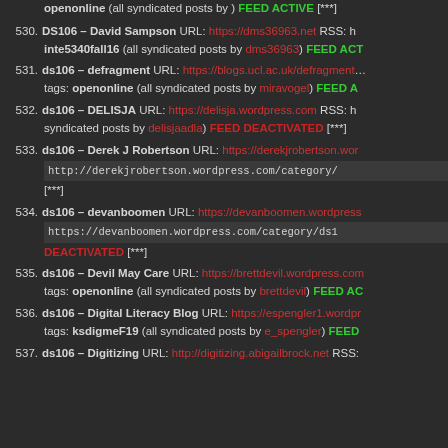openonline (all syndicated posts by ) FEED ACTIVE [***]
530. DS106 – David Sampson URL: https://dms36963.net RSS: h... inte5340fall16 (all syndicated posts by dms36963) FEED ACT...
531. ds106 – defragment URL: https://blogs.ucl.ac.uk/defragment... tags: openonline (all syndicated posts by miravogel) FEED A...
532. ds106 – DELISJA URL: https://delisja.wordpress.com RSS: h... syndicated posts by delisjaadla) FEED DEACTIVATED [***]
533. ds106 – Derek J Robertson URL: https://derekjrobertson.wor... http://derekjrobertson.wordpress.com/category/... [***]
534. ds106 – devanboomen URL: https://devanboomen.wordpress... https://devanboomen.wordpress.com/category/ds1... DEACTIVATED [***]
535. ds106 – Devil May Care URL: https://brettdevil.wordpress.com... tags: openonline (all syndicated posts by brettdevil) FEED AC...
536. ds106 – Digital Literacy Blog URL: https://espengler1.wordpr... tags: ksdigmeF19 (all syndicated posts by e_spengler) FEED...
537. ds106 – Digitizing URL: http://digitizing.abigailbrock.net RSS:...